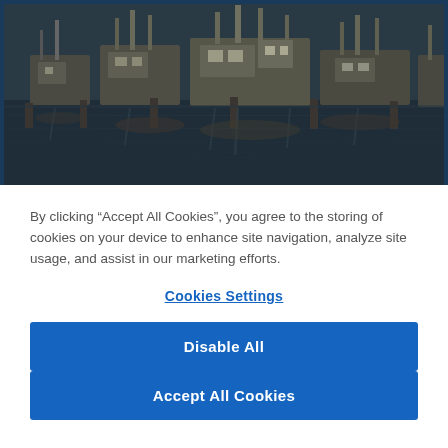[Figure (photo): Harbor scene with fishing boats docked at a marina, with water reflections visible. Dark atmospheric tone with blue border frame.]
By clicking “Accept All Cookies”, you agree to the storing of cookies on your device to enhance site navigation, analyze site usage, and assist in our marketing efforts.
Cookies Settings
Disable All
Accept All Cookies